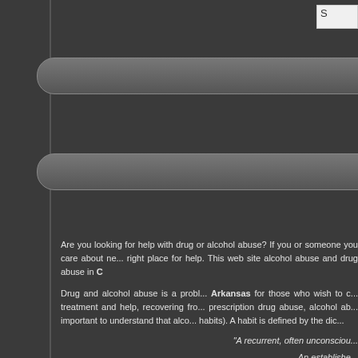[Figure (screenshot): Left dark sidebar panel with border]
[Figure (screenshot): Top navigation search box (white input box visible at top right)]
[Figure (screenshot): Dark rounded navigation button (first, partially visible)]
[Figure (screenshot): Dark rounded navigation button (second, partially visible)]
Are you looking for help with drug or alcohol abuse? If you or someone you care about need help, you have come to the right place for help. This web site can assist you with alcohol abuse and drug abuse in C...
Drug and alcohol abuse is a problem... Arkansas for those who wish to overcome... treatment and help, recovering from... prescription drug abuse, alcohol ab... important to understand that alco... habits). A habit is defined by the dic...
"A recurrent, often unconsciou...
An establishe... An addict...
With this in mind, one can chan... determination, and accurate inform...
Drug-help.com is dedicated to find... abuse problem. Our referral netw... can overcome drug or alcohol abus...
Alcohol Help, Cherry Valley, Arka...
Alcohol Help is something...